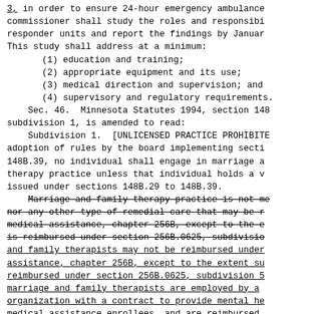3, in order to ensure 24-hour emergency ambulance commissioner shall study the roles and responsibi responder units and report the findings by Januar This study shall address at a minimum:
(1) education and training;
(2) appropriate equipment and its use;
(3) medical direction and supervision; and
(4) supervisory and regulatory requirements.
Sec. 46.  Minnesota Statutes 1994, section 148 subdivision 1, is amended to read:
Subdivision 1.  [UNLICENSED PRACTICE PROHIBITE adoption of rules by the board implementing secti 148B.39, no individual shall engage in marriage a therapy practice unless that individual holds a v issued under sections 148B.29 to 148B.39.
Marriage and family therapy practice is not me nor any other type of remedial care that may be r medical assistance, chapter 256B, except to the e is reimbursed under section 256B.0625, subdivisio and family therapists may not be reimbursed under assistance, chapter 256B, except to the extent su reimbursed under section 256B.0625, subdivision 5 marriage and family therapists are employed by a organization with a contract to provide mental he medical assistance enrollees, and are reimbursed